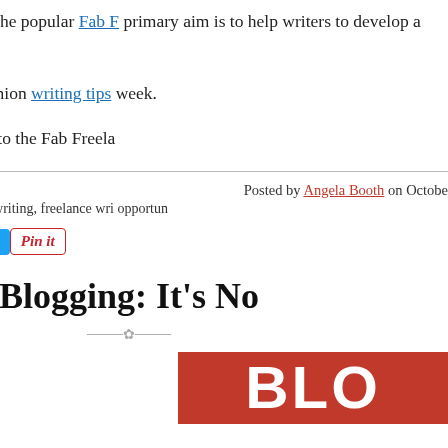Angela Booth started the popular Fab F[reelance Writing Blog]. primary aim is to help writers to develop a [writing income, and it has helped] many to do just that.
The blog has a companion writing tips [newsletter that is sent out each] week.
Writers can subscribe to the Fab Freela[nce Writing Blog...]
Posted by Angela Booth on Octobe[r...]
Tags: freelance writer, freelance writing, freelance wri[ting...] opportun[ities...]
[Figure (other): Social sharing buttons: Reblog (0), Tweet, Pin it]
Blogging: It's No[t...]
[Figure (photo): Red blogging sign showing letters BLO[G] in white on red background]